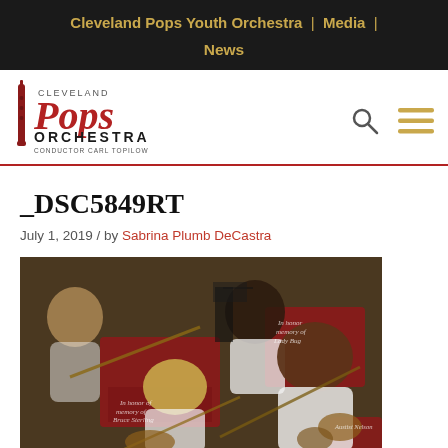Cleveland Pops Youth Orchestra | Media | News
[Figure (logo): Cleveland Pops Orchestra logo with conductor Carl Topilow text]
_DSC5849RT
July 1, 2019 / by Sabrina Plumb DeCastra
[Figure (photo): Orchestra musicians playing violins on stage with red music stands/covers]